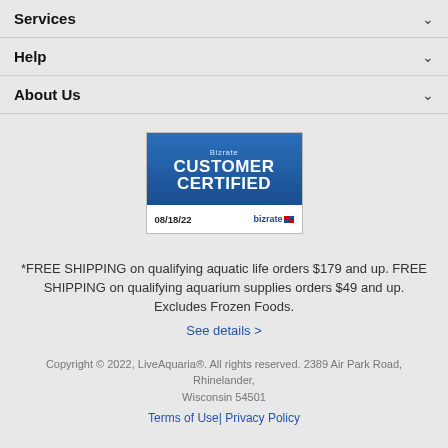Services
Help
About Us
[Figure (logo): Bizrate Customer Certified badge dated 08/18/22 with Bizrate logo]
*FREE SHIPPING on qualifying aquatic life orders $179 and up. FREE SHIPPING on qualifying aquarium supplies orders $49 and up. Excludes Frozen Foods. See details >
Copyright © 2022, LiveAquaria®. All rights reserved. 2389 Air Park Road, Rhinelander, Wisconsin 54501
Terms of Use| Privacy Policy